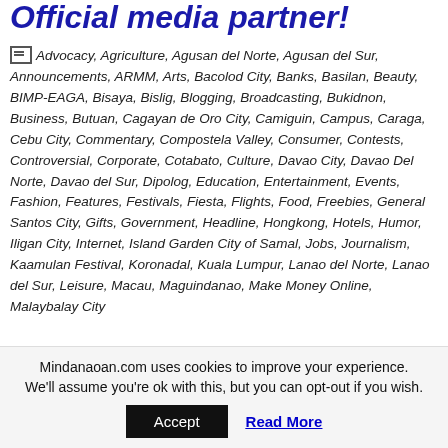Official media partner!
Advocacy, Agriculture, Agusan del Norte, Agusan del Sur, Announcements, ARMM, Arts, Bacolod City, Banks, Basilan, Beauty, BIMP-EAGA, Bisaya, Bislig, Blogging, Broadcasting, Bukidnon, Business, Butuan, Cagayan de Oro City, Camiguin, Campus, Caraga, Cebu City, Commentary, Compostela Valley, Consumer, Contests, Controversial, Corporate, Cotabato, Culture, Davao City, Davao Del Norte, Davao del Sur, Dipolog, Education, Entertainment, Events, Fashion, Features, Festivals, Fiesta, Flights, Food, Freebies, General Santos City, Gifts, Government, Headline, Hongkong, Hotels, Humor, Iligan City, Internet, Island Garden City of Samal, Jobs, Journalism, Kaamulan Festival, Koronadal, Kuala Lumpur, Lanao del Norte, Lanao del Sur, Leisure, Macau, Maguindanao, Make Money Online, Malaybalay City
Mindanaoan.com uses cookies to improve your experience. We'll assume you're ok with this, but you can opt-out if you wish.